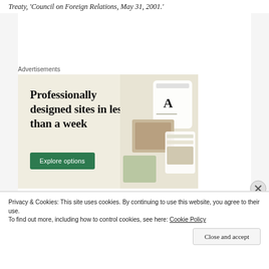Treaty, 'Council on Foreign Relations, May 31, 2001.'
Advertisements
[Figure (illustration): Advertisement banner with beige background. Large text reads 'Professionally designed sites in less than a week' with a green 'Explore options' button and website/app screenshots on the right side.]
[-]
Advertisements
Privacy & Cookies: This site uses cookies. By continuing to use this website, you agree to their use.
To find out more, including how to control cookies, see here: Cookie Policy
Close and accept